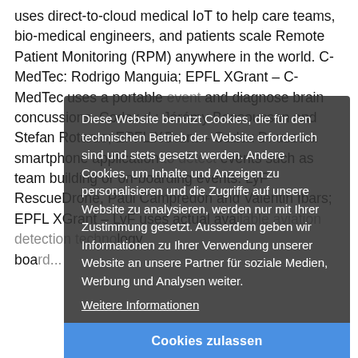uses direct-to-cloud medical IoT to help care teams, bio-medical engineers, and patients scale Remote Patient Monitoring (RPM) anywhere in the world. C-MedTec: Rodrigo Manguia; EPFL XGrant – C-MedTec uses a portable event and diagnose brain concussions. Codex d.: Jérémy Bensoussan and Stefan Rotarus; EPFL XGrant – Codex D. uses a smartphone application to detect events such as team building or on-boarding events. LyF RescueDrone, Paul Campredon and Valentin Ibars; EPFL XGrant – LyF uses actual ava... board...
Diese Website benutzt Cookies, die für den technischen Betrieb der Website erforderlich sind und stets gesetzt werden. Andere Cookies, um Inhalte und Anzeigen zu personalisieren und die Zugriffe auf unsere Website zu analysieren, werden nur mit Ihrer Zustimmung gesetzt. Ausserdem geben wir Informationen zu Ihrer Verwendung unserer Website an unsere Partner für soziale Medien, Werbung und Analysen weiter.
Weitere Informationen
Cookies zulassen